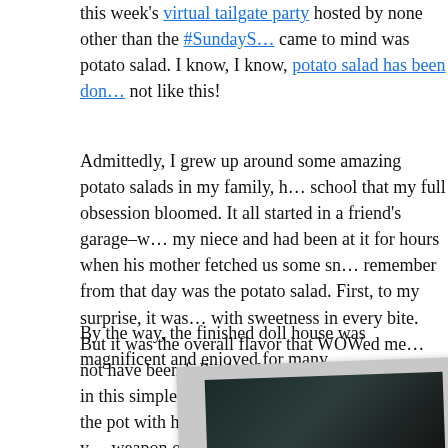this week's virtual tailgate party hosted by none other than the #SundayS… came to mind was potato salad. I know, I know, potato salad has been don… not like this!
Admittedly, I grew up around some amazing potato salads in my family, h… school that my full obsession bloomed. It all started in a friend's garage–w… my niece and had been at it for hours when his mother fetched us some sn… remember from that day was the potato salad. First, to my surprise, it was … with sweetness in every bite. But it was the overall flavor that WOWed me… not have been fully developed, the depth of flavor in this simple dish was a… boiling her potatoes in the pot with her chicken and seasonings. So there y… weapon of the potato salad wars.
By the way, the finished doll house was magnificent and enjoyed for many…
[Figure (photo): A polaroid-style photo showing a dark scene, partially visible, mounted on a light grey background card that is slightly rotated.]